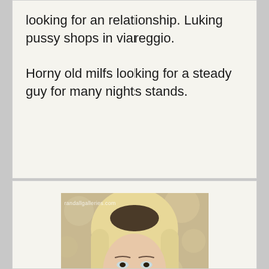looking for an relationship. Luking pussy shops in viareggio.

Horny old milfs looking for a steady guy for many nights stands.
[Figure (photo): Portrait photo of a blonde woman with straight hair, watermarked with 'randallgalleries.com']